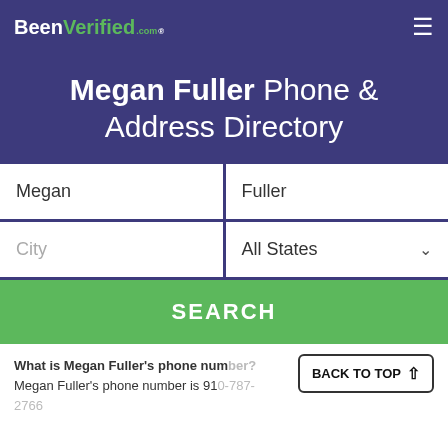BeenVerified.com
Megan Fuller Phone & Address Directory
Megan | Fuller | City | All States | SEARCH
What is Megan Fuller's phone number? Megan Fuller's phone number is 91… Other phone numbers for Megan Fuller may include